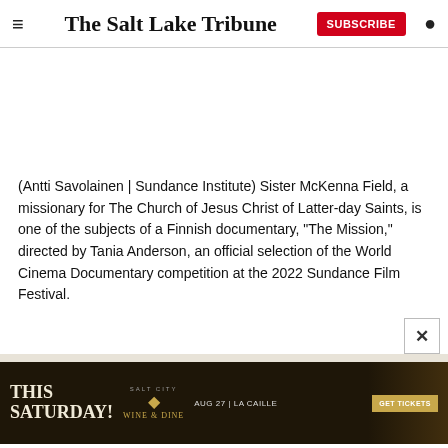The Salt Lake Tribune
[Figure (photo): White/blank image area representing a photo placeholder]
(Antti Savolainen | Sundance Institute) Sister McKenna Field, a missionary for The Church of Jesus Christ of Latter-day Saints, is one of the subjects of a Finnish documentary, "The Mission," directed by Tania Anderson, an official selection of the World Cinema Documentary competition at the 2022 Sundance Film Festival.
[Figure (advertisement): Ad banner: THIS SATURDAY! Salt City Wine & Dine. AUG 27 | LA CAILLE. GET TICKETS button.]